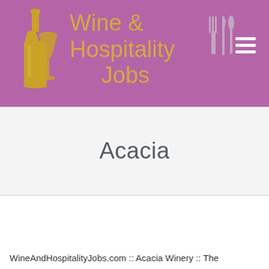[Figure (logo): Wine & Hospitality Jobs logo with gold wine bottle and glass icon on purple banner background, with cutlery icon, and hamburger menu icon in white on the right]
Acacia
WineAndHospitalityJobs.com :: Acacia Winery :: The